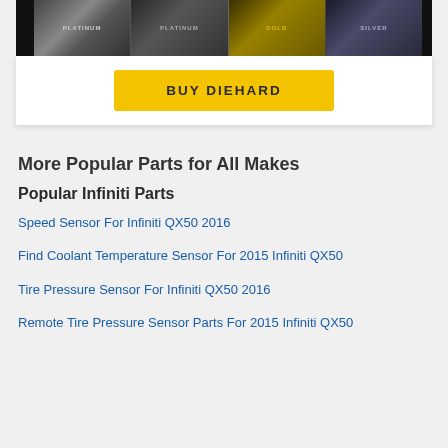[Figure (photo): DieHard battery product lineup showing Platinum, Platinum, Gold, and Silver battery variants against dark background]
BUY DIEHARD
More Popular Parts for All Makes
Popular Infiniti Parts
Speed Sensor For Infiniti QX50 2016
Find Coolant Temperature Sensor For 2015 Infiniti QX50
Tire Pressure Sensor For Infiniti QX50 2016
Remote Tire Pressure Sensor Parts For 2015 Infiniti QX50